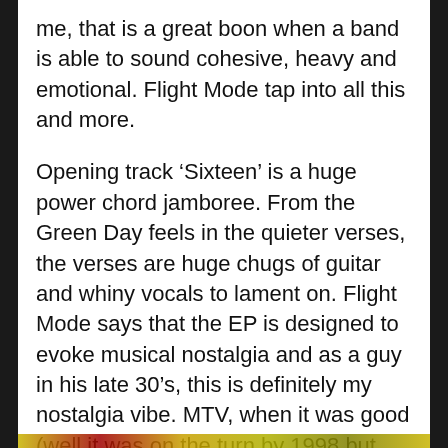me, that is a great boon when a band is able to sound cohesive, heavy and emotional. Flight Mode tap into all this and more.
Opening track ‘Sixteen’ is a huge power chord jamboree. From the Green Day feels in the quieter verses, the verses are huge chugs of guitar and whiny vocals to lament on. Flight Mode says that the EP is designed to evoke musical nostalgia and as a guy in his late 30’s, this is definitely my nostalgia vibe. MTV, when it was good (well it was on the turn by 1998 but still, a good vibe). All the hurt feels of late school. Angry sad riffs stuck in your head. Yes please then and yes please today.